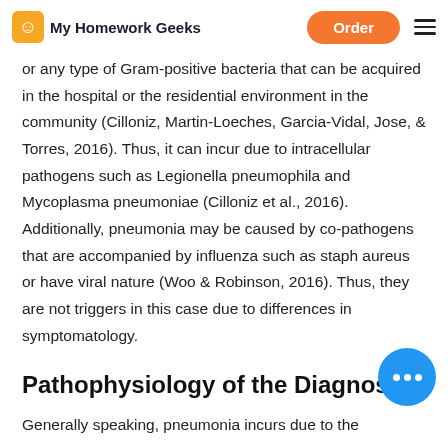My Homework Geeks | Order
or any type of Gram-positive bacteria that can be acquired in the hospital or the residential environment in the community (Cilloniz, Martin-Loeches, Garcia-Vidal, Jose, & Torres, 2016). Thus, it can incur due to intracellular pathogens such as Legionella pneumophila and Mycoplasma pneumoniae (Cilloniz et al., 2016). Additionally, pneumonia may be caused by co-pathogens that are accompanied by influenza such as staph aureus or have viral nature (Woo & Robinson, 2016). Thus, they are not triggers in this case due to differences in symptomatology.
Pathophysiology of the Diagnosis
Generally speaking, pneumonia incurs due to the